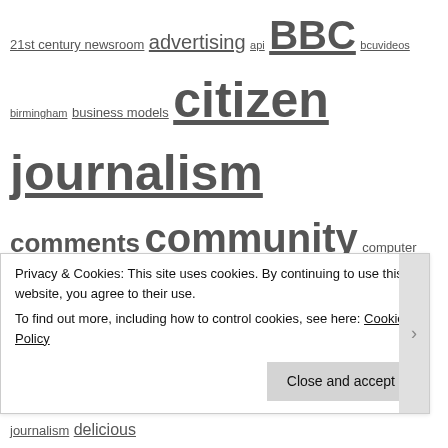[Figure (other): Tag cloud of journalism-related terms in varying font sizes indicating frequency/weight. Terms include: 21st century newsroom, advertising, api, BBC, bcuvideos, birmingham, business models, citizen journalism, comments, community, computer aided reporting, copyright, crowdsourcing, daily mail, Damian Radcliffe, data, data journalism, data journalism, delicious, enterprise, ethics, facebook, foi, future journalism, google, google refine, Guardian, help me investigate, Hyperlocal, Hyperlocal Voices, Independent, interactivity, investigative journalism, journalism, journalism education, law, linking, local newspapers, mapping, myspace, narrative, New York Times, onlinejournalismblog, online journalism education, online journalism students, online video, open data]
Privacy & Cookies: This site uses cookies. By continuing to use this website, you agree to their use.
To find out more, including how to control cookies, see here: Cookie Policy
Close and accept